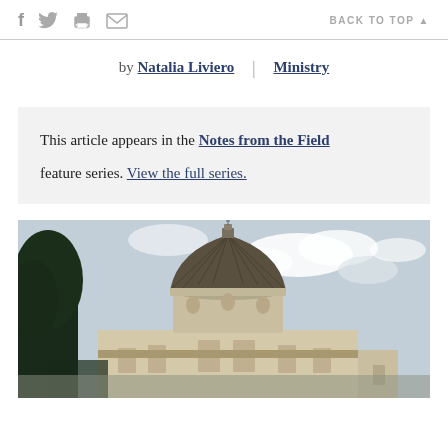f [twitter] [print] [email]   BACK TO TOP ▲
by Natalia Liviero | Ministry
This article appears in the Notes from the Field feature series. View the full series.
[Figure (photo): Photo of a large church or basilica with a prominent dome/cupola, surrounded by trees against a partly cloudy sky. The building appears to be the Basilica of the Annunciation in Nazareth.]